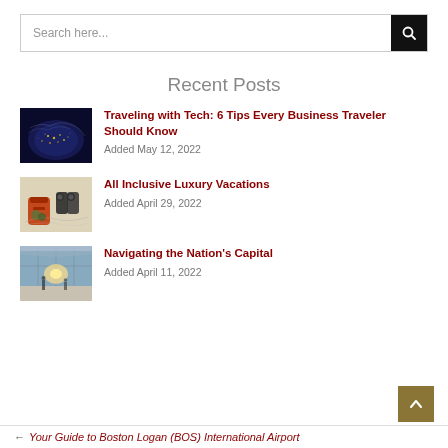Search here...
Recent Posts
[Figure (photo): Aerial view of Earth at night showing city lights]
Traveling with Tech: 6 Tips Every Business Traveler Should Know
Added May 12, 2022
[Figure (photo): Travel gear including backpack and binoculars on a map]
All Inclusive Luxury Vacations
Added April 29, 2022
[Figure (photo): Airport terminal interior with sunlight streaming through windows]
Navigating the Nation's Capital
Added April 11, 2022
← Your Guide to Boston Logan (BOS) International Airport